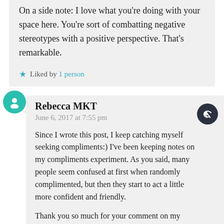On a side note: I love what you're doing with your space here. You're sort of combatting negative stereotypes with a positive perspective. That's remarkable.
Liked by 1 person
Rebecca MKT
June 6, 2017 at 7:55 pm
Since I wrote this post, I keep catching myself seeking compliments:) I've been keeping notes on my compliments experiment. As you said, many people seem confused at first when randomly complimented, but then they start to act a little more confident and friendly.
Thank you so much for your comment on my blog! I try to write about topics that I find interesting that will also make good content